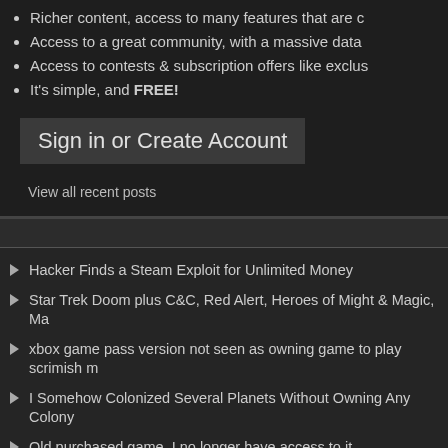Richer content, access to many features that are c…
Access to a great community, with a massive data…
Access to contests & subscription offers like exclus…
It's simple, and FREE!
Sign in or Create Account
View all recent posts
Hacker Finds a Steam Exploit for Unlimited Money
Star Trek Doom plus C&C, Red Alert, Heroes of Might & Magic, Ma…
xbox game pass version not seen as owning game to play scrimish m…
I Somehow Colonized Several Planets Without Owning Any Colony…
Old purchased game. I no longer have access to it.